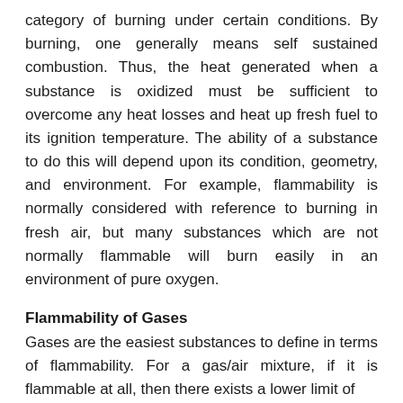category of burning under certain conditions. By burning, one generally means self sustained combustion. Thus, the heat generated when a substance is oxidized must be sufficient to overcome any heat losses and heat up fresh fuel to its ignition temperature. The ability of a substance to do this will depend upon its condition, geometry, and environment. For example, flammability is normally considered with reference to burning in fresh air, but many substances which are not normally flammable will burn easily in an environment of pure oxygen.
Flammability of Gases
Gases are the easiest substances to define in terms of flammability. For a gas/air mixture, if it is flammable at all, then there exists a lower limit of